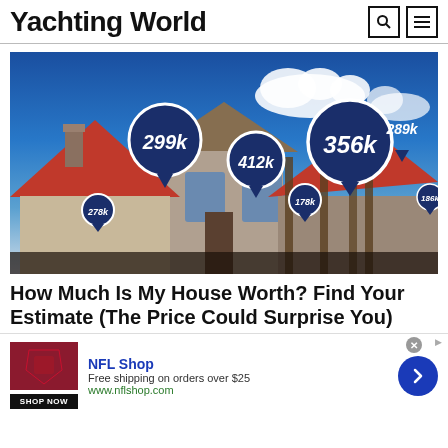Yachting World
[Figure (photo): Real estate photo showing house rooftops against blue sky with price tag pins showing values: 278k, 299k, 412k, 178k, 356k, 289k, 186k]
How Much Is My House Worth? Find Your Estimate (The Price Could Surprise You)
[Figure (infographic): NFL Shop advertisement. NFL Shop logo in red, text: Free shipping on orders over $25, www.nflshop.com, SHOP NOW button, blue circle arrow button on right.]